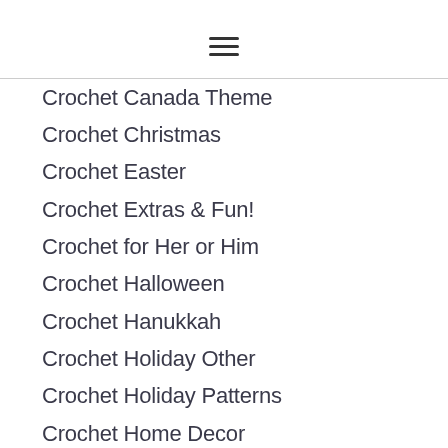☰
Crochet Canada Theme
Crochet Christmas
Crochet Easter
Crochet Extras & Fun!
Crochet for Her or Him
Crochet Halloween
Crochet Hanukkah
Crochet Holiday Other
Crochet Holiday Patterns
Crochet Home Decor
Crochet Thanksgiving
Crochet Valentine's Day
How-To
Knit